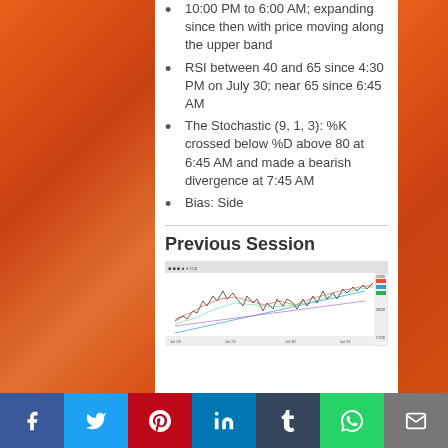10:00 PM to 6:00 AM; expanding since then with price moving along the upper band
RSI between 40 and 65 since 4:30 PM on July 30; near 65 since 6:45 AM
The Stochastic (9, 1, 3): %K crossed below %D above 80 at 6:45 AM and made a bearish divergence at 7:45 AM
Bias: Side
Previous Session
[Figure (continuous-plot): Financial chart showing price history with moving averages and trend lines, appears to be a stock/index chart with multiple overlaid lines.]